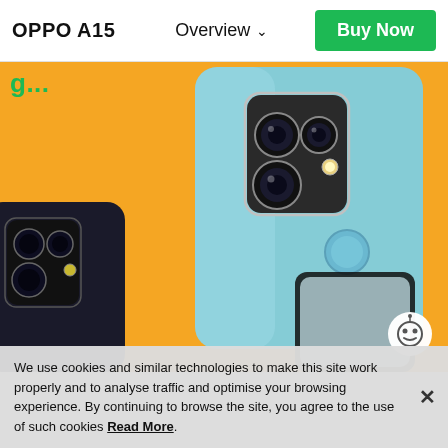OPPO A15   Overview ∨   Buy Now
g...
[Figure (photo): OPPO A15 smartphone product photo showing the back of a blue phone with triple camera system on orange/yellow background, alongside a dark/black variant phone. The blue phone shows the camera module with three lenses and a fingerprint sensor. A partial front-facing view of a phone is visible at the bottom right. A chat button icon is visible in the lower right.]
We use cookies and similar technologies to make this site work properly and to analyse traffic and optimise your browsing experience. By continuing to browse the site, you agree to the use of such cookies Read More.